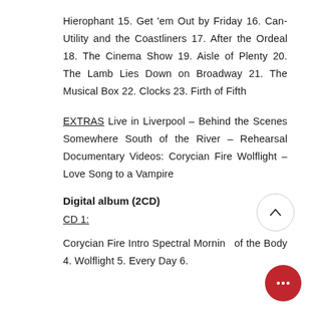Hierophant 15. Get 'em Out by Friday 16. Can-Utility and the Coastliners 17. After the Ordeal 18. The Cinema Show 19. Aisle of Plenty 20. The Lamb Lies Down on Broadway 21. The Musical Box 22. Clocks 23. Firth of Fifth
EXTRAS Live in Liverpool – Behind the Scenes Somewhere South of the River – Rehearsal Documentary Videos: Corycian Fire Wolflight – Love Song to a Vampire
Digital album (2CD)
CD 1:
Corycian Fire Intro Spectral Mornings of the Body 4. Wolflight 5. Every Day 6.